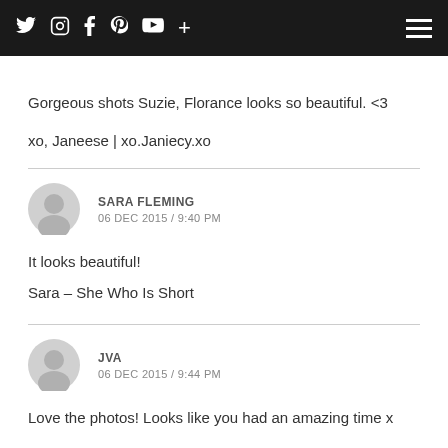Twitter Instagram Facebook Pinterest YouTube + [hamburger menu]
Gorgeous shots Suzie, Florance looks so beautiful. <3

xo, Janeese | xo.Janiecy.xo
SARA FLEMING
06 DEC 2015 / 9:40 PM
It looks beautiful!

Sara – She Who Is Short
JVA
06 DEC 2015 / 9:44 PM
Love the photos! Looks like you had an amazing time x